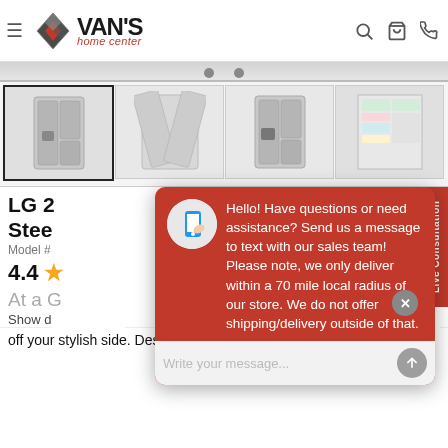Van's Home Center — website header with logo, hamburger menu, search, cart, and phone icons
[Figure (screenshot): Product image thumbnails of LG refrigerators in stainless steel, four thumbnails in a row]
LG 2... Stee... (LG refrigerator product title, partially obscured)
Model #... (partially obscured)
4.4 ★
At a G... (At a Glance section header, partially obscured)
Show d... (Show details link, partially obscured)
off your stylish side. Designed for form and function, LG's
[Figure (screenshot): Chat popup overlay with red background. Message reads: Hello! Have questions or need assistance? Send us a message to text with our sales team! Please note, we only deliver within a 70 mile local radius of our store. We do not offer shipping/delivery outside of that. Input field: Write your message...]